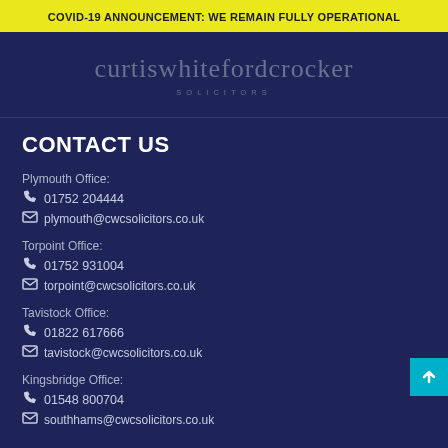COVID-19 ANNOUNCEMENT: WE REMAIN FULLY OPERATIONAL
[Figure (logo): Curtis Whiteford Crocker Solicitors logo — white/grey text on dark navy background]
CONTACT US
Plymouth Office:
📞 01752 204444
✉ plymouth@cwcsolicitors.co.uk
Torpoint Office:
📞 01752 931004
✉ torpoint@cwcsolicitors.co.uk
Tavistock Office:
📞 01822 617666
✉ tavistock@cwcsolicitors.co.uk
Kingsbridge Office:
📞 01548 800704
✉ southhams@cwcsolicitors.co.uk